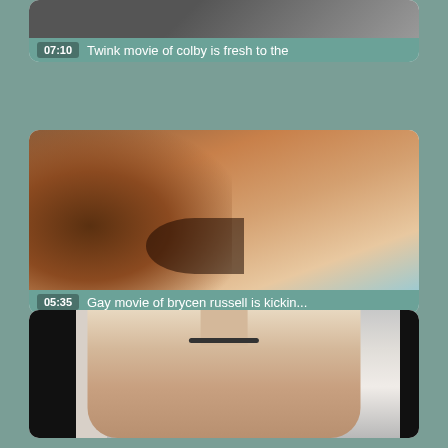[Figure (screenshot): Video thumbnail card 1 (partially visible at top): dark video thumbnail with timestamp 07:10 and title 'Twink movie of colby is fresh to the']
[Figure (screenshot): Video thumbnail card 2: blurred close-up video thumbnail with timestamp 05:35 and title 'Gay movie of brycen russell is kickin...']
[Figure (screenshot): Video thumbnail card 3 (partially visible at bottom): video thumbnail showing a person, no timestamp or title visible]